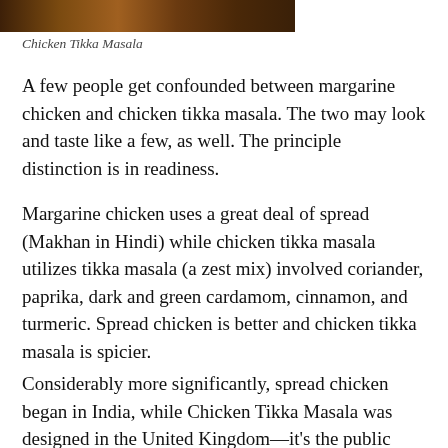[Figure (photo): Partial view of a food photo showing Chicken Tikka Masala dish, cropped at top]
Chicken Tikka Masala
A few people get confounded between margarine chicken and chicken tikka masala. The two may look and taste like a few, as well. The principle distinction is in readiness.
Margarine chicken uses a great deal of spread (Makhan in Hindi) while chicken tikka masala utilizes tikka masala (a zest mix) involved coriander, paprika, dark and green cardamom, cinnamon, and turmeric. Spread chicken is better and chicken tikka masala is spicier.
Considerably more significantly, spread chicken began in India, while Chicken Tikka Masala was designed in the United Kingdom—it's the public dish!